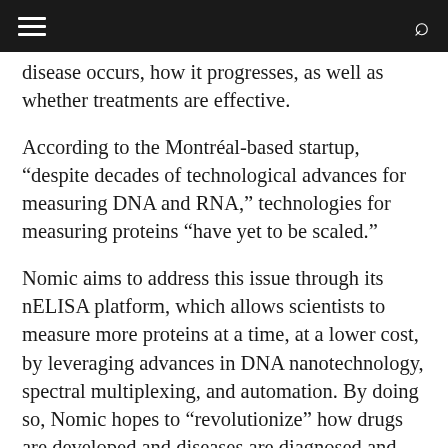☰  Q
disease occurs, how it progresses, as well as whether treatments are effective.
According to the Montréal-based startup, “despite decades of technological advances for measuring DNA and RNA,” technologies for measuring proteins “have yet to be scaled.”
Nomic aims to address this issue through its nELISA platform, which allows scientists to measure more proteins at a time, at a lower cost, by leveraging advances in DNA nanotechnology, spectral multiplexing, and automation. By doing so, Nomic hopes to “revolutionize” how drugs are developed and diseases are diagnosed and treated.